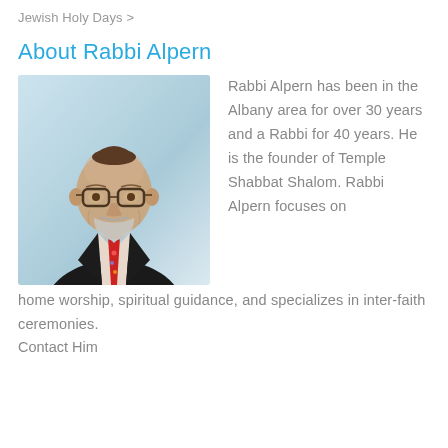Jewish Holy Days >
About Rabbi Alpern
[Figure (photo): Portrait photo of Rabbi Alpern, an older bald man wearing glasses, a dark suit jacket, and a red patterned tie, with a light blue gradient background. He is wearing a kippah.]
Rabbi Alpern has been in the Albany area for over 30 years and a Rabbi for 40 years. He is the founder of Temple Shabbat Shalom. Rabbi Alpern focuses on home worship, spiritual guidance, and specializes in inter-faith ceremonies. Contact Him